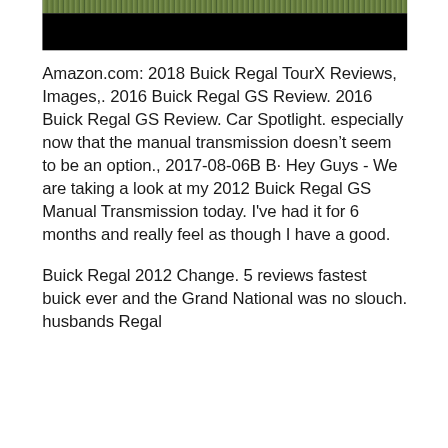[Figure (photo): Top portion of a photo showing green foliage/trees at the top and a black/dark area below, cropped at the bottom of the visible image area.]
Amazon.com: 2018 Buick Regal TourX Reviews, Images,. 2016 Buick Regal GS Review. 2016 Buick Regal GS Review. Car Spotlight. especially now that the manual transmission doesn’t seem to be an option., 2017-08-06· · Hey Guys - We are taking a look at my 2012 Buick Regal GS Manual Transmission today. I've had it for 6 months and really feel as though I have a good.
Buick Regal 2012 Change. 5 reviews fastest buick ever and the Grand National was no slouch. husbands Regal